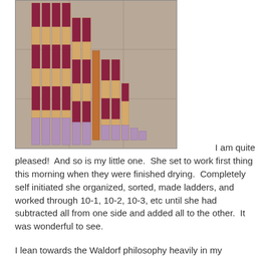[Figure (photo): Photo of wooden math manipulative blocks (Cuisenaire-style rods) arranged in a staircase pattern on a tile floor. The blocks are painted in alternating red/maroon and natural wood tones at the top, with lavender/purple blocks at the bottom, forming a descending staircase shape from left to right.]
I am quite pleased!  And so is my little one.  She set to work first thing this morning when they were finished drying.  Completely self initiated she organized, sorted, made ladders, and worked through 10-1, 10-2, 10-3, etc until she had subtracted all from one side and added all to the other.  It was wonderful to see.
I lean towards the Waldorf philosophy heavily in my